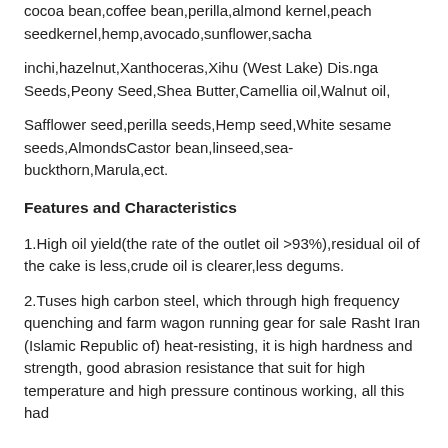cocoa bean,coffee bean,perilla,almond kernel,peach seedkernel,hemp,avocado,sunflower,sacha
inchi,hazelnut,Xanthoceras,Xihu (West Lake) Dis.nga Seeds,Peony Seed,Shea Butter,Camellia oil,Walnut oil,
Safflower seed,perilla seeds,Hemp seed,White sesame seeds,AlmondsCastor bean,linseed,sea-buckthorn,Marula,ect.
Features and Characteristics
1.High oil yield(the rate of the outlet oil >93%),residual oil of the cake is less,crude oil is clearer,less degums.
2.Tuses high carbon steel, which through high frequency quenching and farm wagon running gear for sale Rasht Iran (Islamic Republic of) heat-resisting, it is high hardness and strength, good abrasion resistance that suit for high temperature and high pressure continous working, all this had